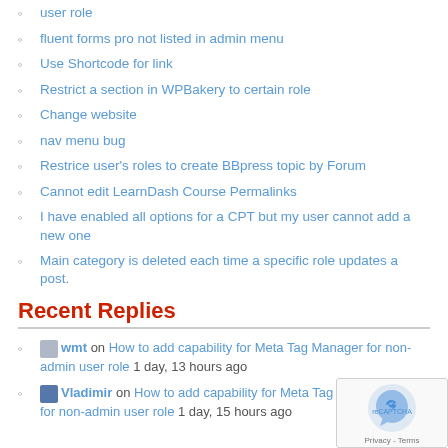user role
fluent forms pro not listed in admin menu
Use Shortcode for link
Restrict a section in WPBakery to certain role
Change website
nav menu bug
Restrice user's roles to create BBpress topic by Forum
Cannot edit LearnDash Course Permalinks
I have enabled all options for a CPT but my user cannot add a new one
Main category is deleted each time a specific role updates a post.
Recent Replies
wmt on How to add capability for Meta Tag Manager for non-admin user role 1 day, 13 hours ago
Vladimir on How to add capability for Meta Tag Manager for non-admin user role 1 day, 15 hours ago